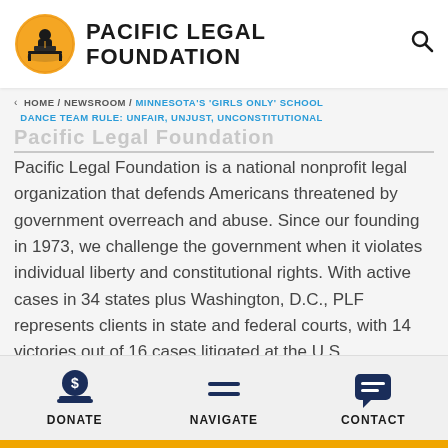[Figure (logo): Pacific Legal Foundation logo with circular yellow badge containing a figure at a desk, next to bold text 'PACIFIC LEGAL FOUNDATION']
‹ HOME / NEWSROOM / MINNESOTA'S 'GIRLS ONLY' SCHOOL DANCE TEAM RULE: UNFAIR, UNJUST, UNCONSTITUTIONAL
Pacific Legal Foundation is a national nonprofit legal organization that defends Americans threatened by government overreach and abuse. Since our founding in 1973, we challenge the government when it violates individual liberty and constitutional rights. With active cases in 34 states plus Washington, D.C., PLF represents clients in state and federal courts, with 14 victories out of 16 cases litigated at the U.S.
DONATE   NAVIGATE   CONTACT